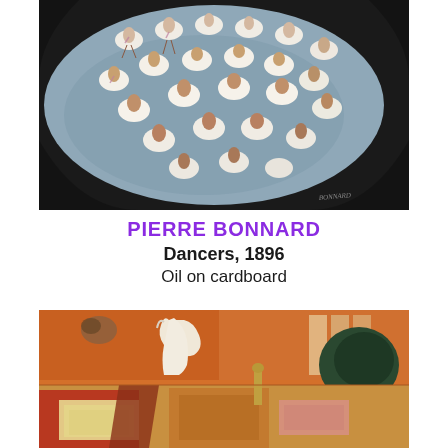[Figure (photo): Painting of many ballerinas in white tutus performing on a stage, viewed from above, set against a blue-gray background. Artist signature visible at bottom right. Pierre Bonnard, Dancers, 1896, Oil on cardboard.]
PIERRE BONNARD
Dancers, 1896
Oil on cardboard
[Figure (photo): Interior scene painting with warm orange and red tones. A white cat and various objects are depicted on a table and in the background. Rich, colorful Post-Impressionist style painting.]